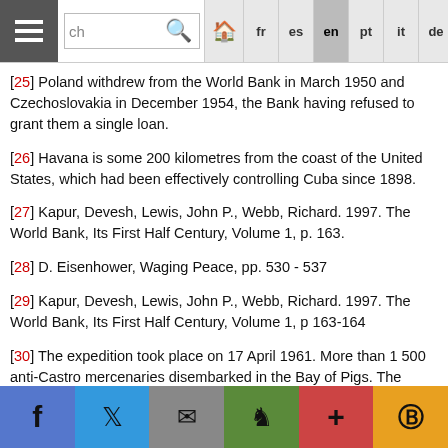Navigation bar with search and language tabs: fr, es, en (active), pt, it, de, arabic
[25] Poland withdrew from the World Bank in March 1950 and Czechoslovakia in December 1954, the Bank having refused to grant them a single loan.
[26] Havana is some 200 kilometres from the coast of the United States, which had been effectively controlling Cuba since 1898.
[27] Kapur, Devesh, Lewis, John P., Webb, Richard. 1997. The World Bank, Its First Half Century, Volume 1, p. 163.
[28] D. Eisenhower, Waging Peace, pp. 530 - 537
[29] Kapur, Devesh, Lewis, John P., Webb, Richard. 1997. The World Bank, Its First Half Century, Volume 1, p 163-164
[30] The expedition took place on 17 April 1961. More than 1 500 anti-Castro mercenaries disembarked in the Bay of Pigs. The expedition was a monumental fiasco.
Social sharing bar: Facebook, Twitter, Email, Goodreads, Plus, Pocket